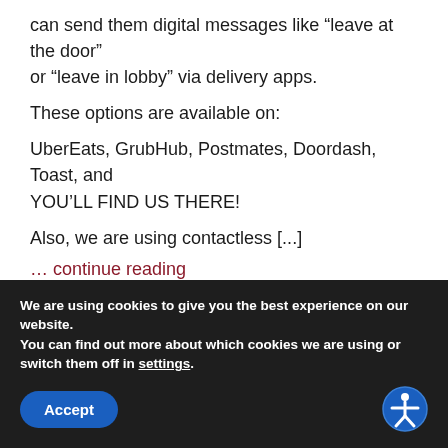can send them digital messages like “leave at the door” or “leave in lobby” via delivery apps.
These options are available on:
UberEats, GrubHub, Postmates, Doordash, Toast, and YOU’LL FIND US THERE!
Also, we are using contactless [...]
… continue reading
Coronavirus: Preventive Actions at Our Restaurants
We are using cookies to give you the best experience on our website.
You can find out more about which cookies we are using or switch them off in settings.